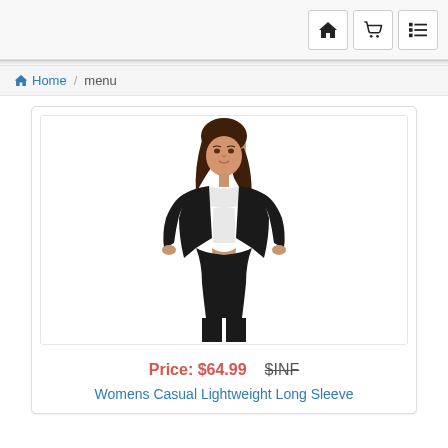Navigation bar with home, cart, and menu icons
Home / menu
[Figure (photo): Woman wearing a black casual lightweight long sleeve open front cardigan over a white top with black pants, standing against a white background.]
Price: $64.99   $INF
Womens Casual Lightweight Long Sleeve